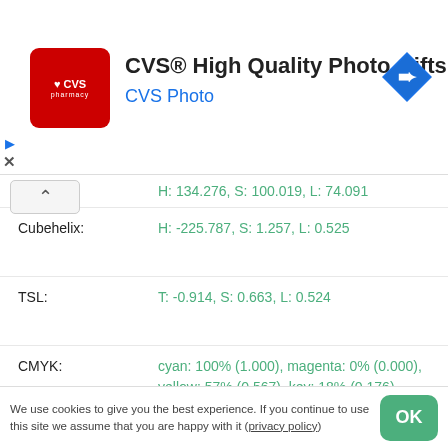[Figure (screenshot): CVS Pharmacy advertisement banner with red logo, title 'CVS® High Quality Photo Gifts', subtitle 'CVS Photo', and a blue navigation arrow icon]
(USL): H: 134.276, S: 100.019, L: 74.091
Cubehelix: H: -225.787, S: 1.257, L: 0.525
TSL: T: -0.914, S: 0.663, L: 0.524
CMYK: cyan: 100% (1.000), magenta: 0% (0.000), yellow: 57% (0.567), key: 18% (0.176)
CMY: cyan: 100% (1.000), magenta: 18% (0.176), yellow: 64% (0.643)
XYZ: X: 24.933, Y: 46.845, Z: 17.623
xyY: x: 0.279, y: 0.524, Y: 46.845
We use cookies to give you the best experience. If you continue to use this site we assume that you are happy with it (privacy policy)